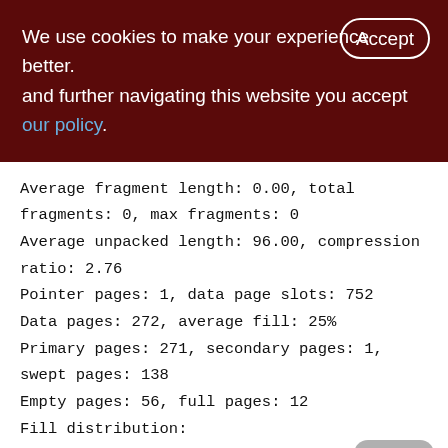We use cookies to make your experience better. By accepting and further navigating this website you accept our policy.
Average fragment length: 0.00, total fragments: 0, max fragments: 0
Average unpacked length: 96.00, compression ratio: 2.76
Pointer pages: 1, data page slots: 752
Data pages: 272, average fill: 25%
Primary pages: 271, secondary pages: 1, swept pages: 138
Empty pages: 56, full pages: 12
Fill distribution:
0 - 19% = 158
20 - 39% = 37
40 - 59% = 39